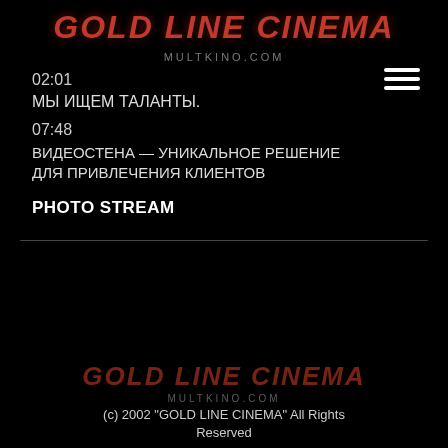GOLD LINE CINEMA
MULTKINO.COM
02:01
МЫ ИЩЕМ ТАЛАНТЫ.
07:48
ВИДЕОСТЕНА — УНИКАЛЬНОЕ РЕШЕНИЕ ДЛЯ ПРИВЛЕЧЕНИЯ КЛИЕНТОВ
PHOTO STREAM
GOLD LINE CINEMA
MULTKINO.COM
(c) 2002 "GOLD LINE CINEMA" All Rights Reserved